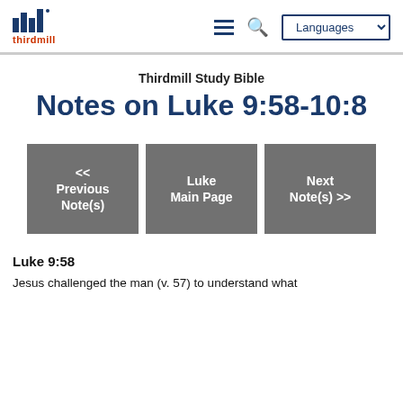thirdmill | Languages
Thirdmill Study Bible
Notes on Luke 9:58-10:8
[Figure (other): Navigation buttons: << Previous Note(s), Luke Main Page, Next Note(s) >>]
Luke 9:58
Jesus challenged the man (v. 57) to understand what